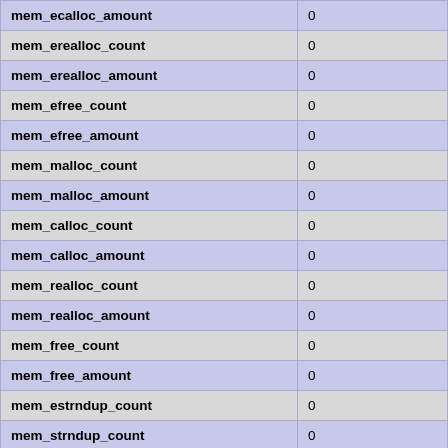| Variable | Value |
| --- | --- |
| mem_ecalloc_amount | 0 |
| mem_erealloc_count | 0 |
| mem_erealloc_amount | 0 |
| mem_efree_count | 0 |
| mem_efree_amount | 0 |
| mem_malloc_count | 0 |
| mem_malloc_amount | 0 |
| mem_calloc_count | 0 |
| mem_calloc_amount | 0 |
| mem_realloc_count | 0 |
| mem_realloc_amount | 0 |
| mem_free_count | 0 |
| mem_free_amount | 0 |
| mem_estrndup_count | 0 |
| mem_strndup_count | 0 |
| mem_estndup_count | 0 |
| mem_strdup_count | 0 |
| proto_text_fetched_null | 0 |
| proto_text_fetched_bit | 0 |
| proto_text_fetched_tinyint | 12498 |